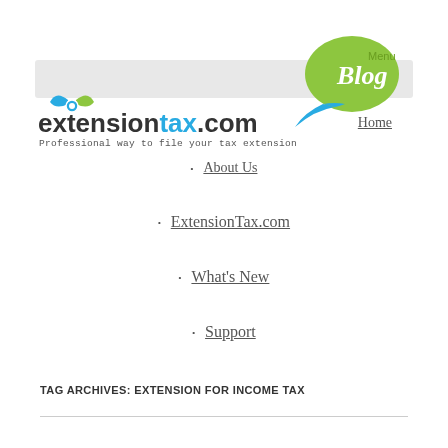[Figure (logo): ExtensionTax.com logo with leaf/headphone icon, blue and dark text, tagline 'Professional way to file your tax extension']
[Figure (illustration): Green speech bubble with 'Blog' in white italic text and 'Menu' in green text beside it, with cyan/teal curved arrow shape below]
Home
About Us
ExtensionTax.com
What's New
Support
TAG ARCHIVES: EXTENSION FOR INCOME TAX